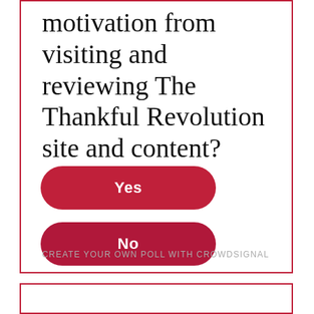motivation from visiting and reviewing The Thankful Revolution site and content?
Yes
No
CREATE YOUR OWN POLL WITH CROWDSIGNAL